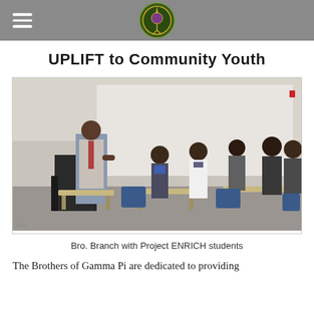UPLIFT to Community Youth
[Figure (photo): A man in a dress shirt and tie stands at the front of a classroom speaking to a group of young men seated at desks in a modern classroom setting.]
Bro. Branch with Project ENRICH students
The Brothers of Gamma Pi are dedicated to providing